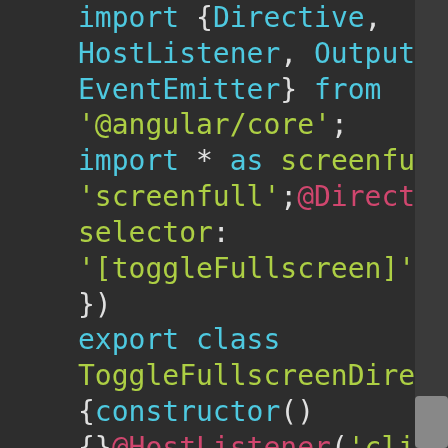[Figure (screenshot): Code editor screenshot showing Angular TypeScript code with syntax highlighting on a dark background. The code imports Directive, HostListener, Output, EventEmitter from '@angular/core', imports screenfull, uses @Directive decorator with selector '[toggleFullscreen]', and exports class ToggleFullscreenDirective with a constructor, @HostListener('click') onClick() method and if (screenfull.enabled) { screenfull.toggle(); }]